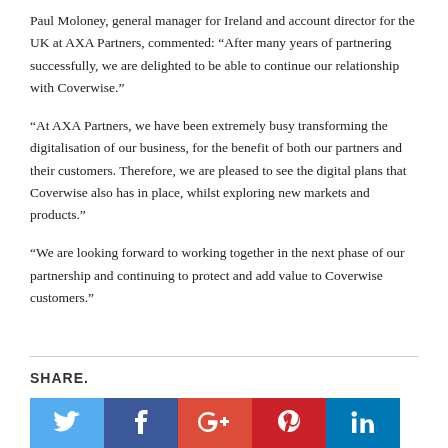Paul Moloney, general manager for Ireland and account director for the UK at AXA Partners, commented: “After many years of partnering successfully, we are delighted to be able to continue our relationship with Coverwise.”
“At AXA Partners, we have been extremely busy transforming the digitalisation of our business, for the benefit of both our partners and their customers. Therefore, we are pleased to see the digital plans that Coverwise also has in place, whilst exploring new markets and products.”
“We are looking forward to working together in the next phase of our partnership and continuing to protect and add value to Coverwise customers.”
SHARE.